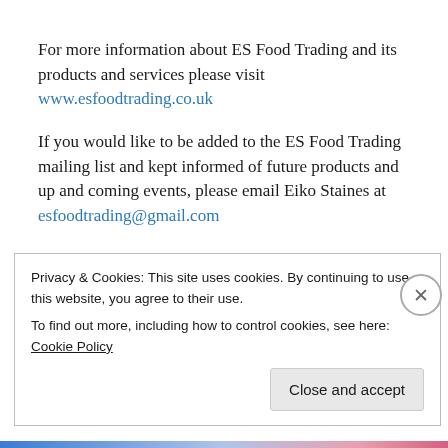For more information about ES Food Trading and its products and services please visit www.esfoodtrading.co.uk
If you would like to be added to the ES Food Trading mailing list and kept informed of future products and up and coming events, please email Eiko Staines at esfoodtrading@gmail.com
Privacy & Cookies: This site uses cookies. By continuing to use this website, you agree to their use. To find out more, including how to control cookies, see here: Cookie Policy